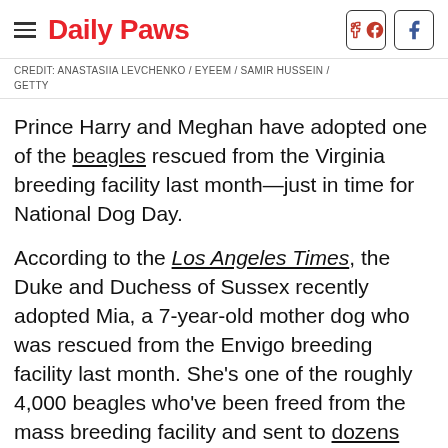Daily Paws
CREDIT: ANASTASIIA LEVCHENKO / EYEEM / SAMIR HUSSEIN / GETTY
Prince Harry and Meghan have adopted one of the beagles rescued from the Virginia breeding facility last month—just in time for National Dog Day.
According to the Los Angeles Times, the Duke and Duchess of Sussex recently adopted Mia, a 7-year-old mother dog who was rescued from the Envigo breeding facility last month. She's one of the roughly 4,000 beagles who've been freed from the mass breeding facility and sent to dozens of shelters across the country.